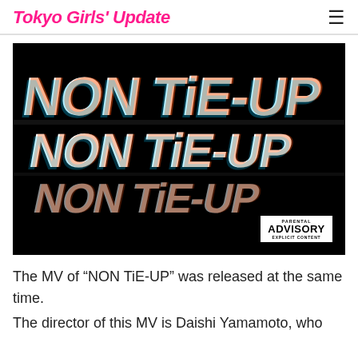Tokyo Girls' Update
[Figure (photo): Black background album art with distorted/glitched text reading 'NON TIE-UP' repeated in white with chromatic aberration effect, and a Parental Advisory Explicit Content label in the bottom right corner.]
The MV of “NON TiE-UP” was released at the same time.
The director of this MV is Daishi Yamamoto, who...